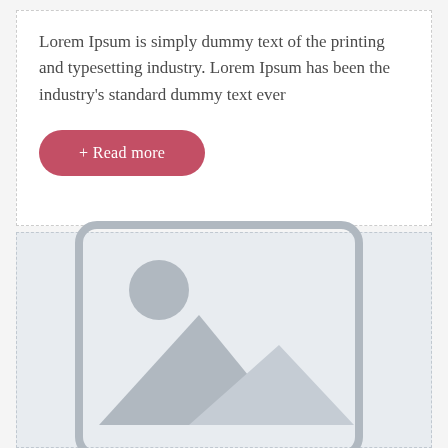Lorem Ipsum is simply dummy text of the printing and typesetting industry. Lorem Ipsum has been the industry's standard dummy text ever
[Figure (illustration): Image placeholder icon showing a landscape with mountain and sun inside a rounded rectangle, rendered in gray on a light blue-gray background]